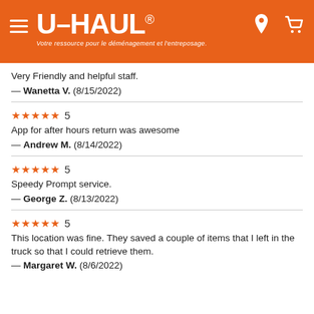U-HAUL — Votre ressource pour le déménagement et l'entreposage.
Very Friendly and helpful staff.
— Wanetta V.  (8/15/2022)
★★★★★ 5
App for after hours return was awesome
— Andrew M.  (8/14/2022)
★★★★★ 5
Speedy Prompt service.
— George Z.  (8/13/2022)
★★★★★ 5
This location was fine. They saved a couple of items that I left in the truck so that I could retrieve them.
— Margaret W.  (8/6/2022)